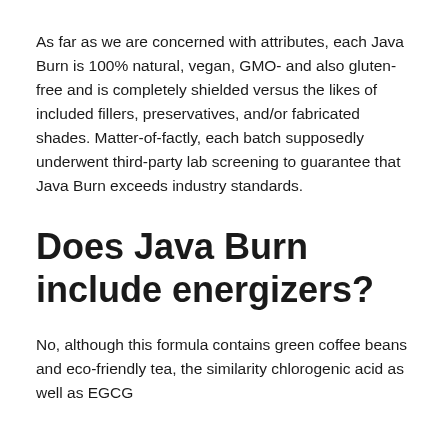As far as we are concerned with attributes, each Java Burn is 100% natural, vegan, GMO- and also gluten-free and is completely shielded versus the likes of included fillers, preservatives, and/or fabricated shades. Matter-of-factly, each batch supposedly underwent third-party lab screening to guarantee that Java Burn exceeds industry standards.
Does Java Burn include energizers?
No, although this formula contains green coffee beans and eco-friendly tea, the similarity chlorogenic acid as well as EGCG